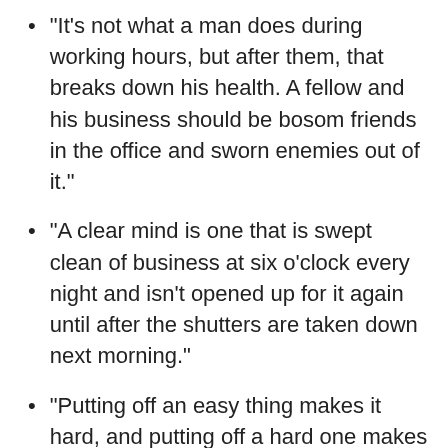“It’s not what a man does during working hours, but after them, that breaks down his health. A fellow and his business should be bosom friends in the office and sworn enemies out of it.”
“A clear mind is one that is swept clean of business at six o’clock every night and isn’t opened up for it again until after the shutters are taken down next morning.”
“Putting off an easy thing makes it hard, and putting off a hard one makes it impossible.”
“There is one excuse for every mistake a man can make, but only one. When a fellow makes the same mistake twice he’s